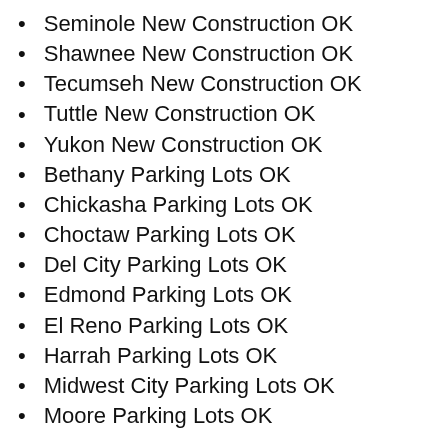Seminole New Construction OK
Shawnee New Construction OK
Tecumseh New Construction OK
Tuttle New Construction OK
Yukon New Construction OK
Bethany Parking Lots OK
Chickasha Parking Lots OK
Choctaw Parking Lots OK
Del City Parking Lots OK
Edmond Parking Lots OK
El Reno Parking Lots OK
Harrah Parking Lots OK
Midwest City Parking Lots OK
Moore Parking Lots OK